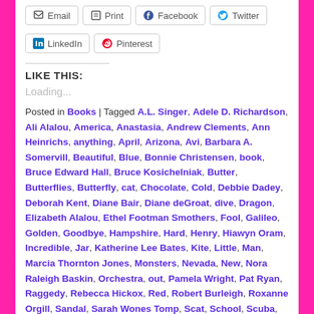[Figure (other): Social share buttons row: Email, Print, Facebook, Twitter (partial view at top)]
LinkedIn
Pinterest
LIKE THIS:
Loading...
Posted in Books | Tagged A.L. Singer, Adele D. Richardson, Ali Alalou, America, Anastasia, Andrew Clements, Ann Heinrichs, anything, April, Arizona, Avi, Barbara A. Somervill, Beautiful, Blue, Bonnie Christensen, book, Bruce Edward Hall, Bruce Kosichelniak, Butter, Butterflies, Butterfly, cat, Chocolate, Cold, Debbie Dadey, Deborah Kent, Diane Bair, Diane deGroat, dive, Dragon, Elizabeth Alalou, Ethel Footman Smothers, Fool, Galileo, Golden, Goodbye, Hampshire, Hard, Henry, Hiawyn Oram, Incredible, Jar, Katherine Lee Bates, Kite, Little, Man, Marcia Thornton Jones, Monsters, Nevada, New, Nora Raleigh Baskin, Orchestra, out, Pamela Wright, Pat Ryan, Raggedy, Rebecca Hickox, Red, Robert Burleigh, Roxanne Orgill, Sandal, Sarah Wones Tomp, Scat, School, Scuba, Sherry Shahan, Skit, Sleeps, Story, Summer, talking, times, Tracy Barrett, typical, Unwilling, Utah, Watch, Watching, White, Without, Words, (more...)